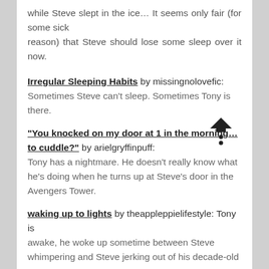while Steve slept in the ice… It seems only fair (for some sick reason) that Steve should lose some sleep over it now.
Irregular Sleeping Habits by missingnolovefic: Sometimes Steve can't sleep. Sometimes Tony is there.
"You knocked on my door at 1 in the morning…to cuddle?" by arielgryffinpuff: Tony has a nightmare. He doesn't really know what he's doing when he turns up at Steve's door in the Avengers Tower.
waking up to lights by theappleppielifestyle: Tony is awake, he woke up sometime between Steve whimpering and Steve jerking out of his decade-old